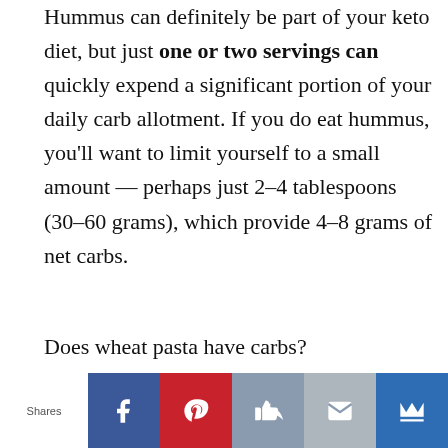Hummus can definitely be part of your keto diet, but just one or two servings can quickly expend a significant portion of your daily carb allotment. If you do eat hummus, you'll want to limit yourself to a small amount — perhaps just 2–4 tablespoons (30–60 grams), which provide 4–8 grams of net carbs.
Does wheat pasta have carbs?
Pasta is a versatile and inexpensive staple
[Figure (other): Social share bar with Facebook, Pinterest, Like, Email, and Crown buttons, preceded by a Shares label]